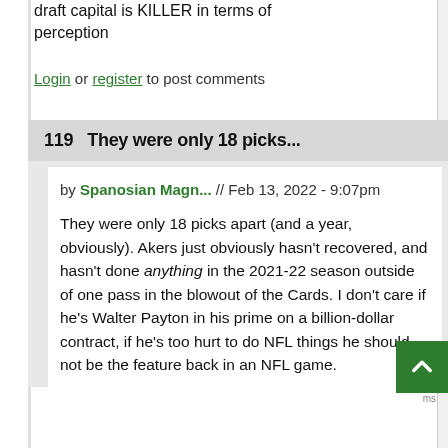draft capital is KILLER in terms of perception
Login or register to post comments
119  They were only 18 picks...
by Spanosian Magn... // Feb 13, 2022 - 9:07pm
They were only 18 picks apart (and a year, obviously). Akers just obviously hasn't recovered, and hasn't done anything in the 2021-22 season outside of one pass in the blowout of the Cards. I don't care if he's Walter Payton in his prime on a billion-dollar contract, if he's too hurt to do NFL things he should not be the feature back in an NFL game.